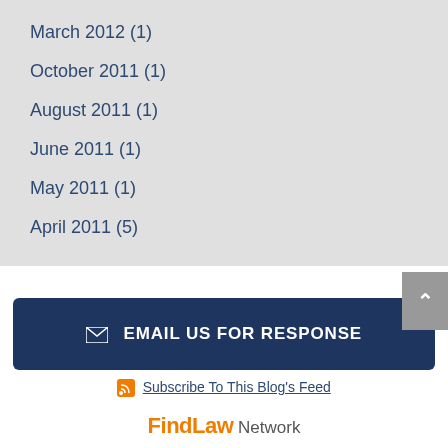March 2012 (1)
October 2011 (1)
August 2011 (1)
June 2011 (1)
May 2011 (1)
April 2011 (5)
EMAIL US FOR RESPONSE
Subscribe To This Blog's Feed
FindLaw Network